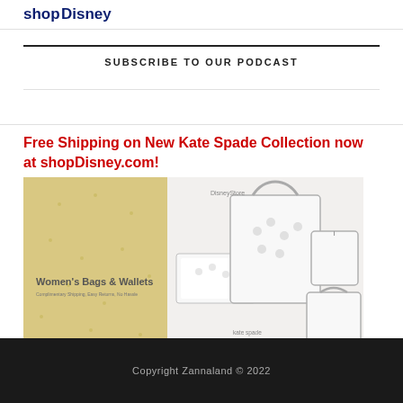shopDisney
SUBSCRIBE TO OUR PODCAST
Free Shipping on New Kate Spade Collection now at shopDisney.com!
[Figure (photo): Advertisement banner for Disney x Kate Spade Women's Bags & Wallets collection showing white and silver Mickey Mouse patterned handbags, tote bags, and wallets on a gold/tan background with Disney Parks and kate spade new york logos]
Copyright Zannaland © 2022